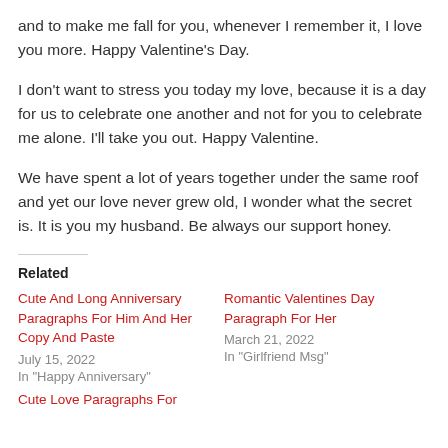and to make me fall for you, whenever I remember it, I love you more. Happy Valentine's Day.
I don't want to stress you today my love, because it is a day for us to celebrate one another and not for you to celebrate me alone. I'll take you out. Happy Valentine.
We have spent a lot of years together under the same roof and yet our love never grew old, I wonder what the secret is. It is you my husband. Be always our support honey.
Related
Cute And Long Anniversary Paragraphs For Him And Her Copy And Paste
July 15, 2022
In "Happy Anniversary"
Romantic Valentines Day Paragraph For Her
March 21, 2022
In "Girlfriend Msg"
Cute Love Paragraphs For